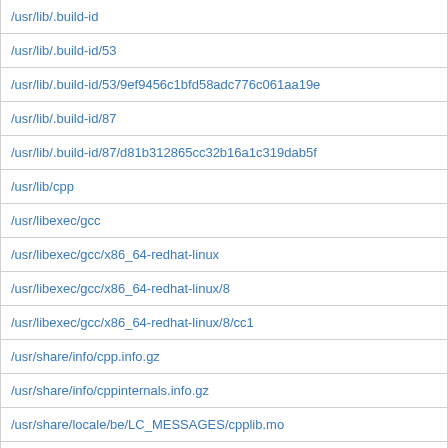| /usr/lib/.build-id |
| /usr/lib/.build-id/53 |
| /usr/lib/.build-id/53/9ef9456c1bfd58adc776c061aa19e |
| /usr/lib/.build-id/87 |
| /usr/lib/.build-id/87/d81b312865cc32b16a1c319dab5f |
| /usr/lib/cpp |
| /usr/libexec/gcc |
| /usr/libexec/gcc/x86_64-redhat-linux |
| /usr/libexec/gcc/x86_64-redhat-linux/8 |
| /usr/libexec/gcc/x86_64-redhat-linux/8/cc1 |
| /usr/share/info/cpp.info.gz |
| /usr/share/info/cppinternals.info.gz |
| /usr/share/locale/be/LC_MESSAGES/cpplib.mo |
| /usr/share/locale/ca/LC_MESSAGES/cpplib.mo |
| /usr/share/locale/da/LC_MESSAGES/cpplib.mo |
| /usr/share/locale/de/LC_MESSAGES/cpplib.mo |